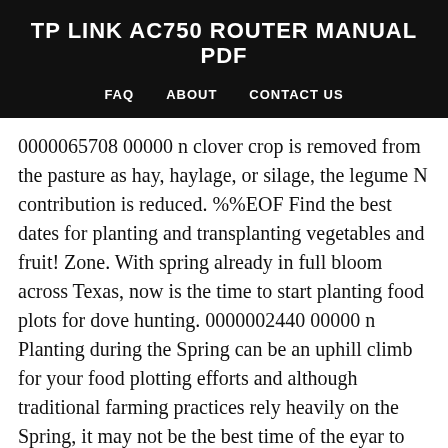TP LINK AC750 ROUTER MANUAL PDF
FAQ   ABOUT   CONTACT US
0000065708 00000 n clover crop is removed from the pasture as hay, haylage, or silage, the legume N contribution is reduced. %%EOF Find the best dates for planting and transplanting vegetables and fruit! Zone. With spring already in full bloom across Texas, now is the time to start planting food plots for dove hunting. 0000002440 00000 n Planting during the Spring can be an uphill climb for your food plotting efforts and although traditional farming practices rely heavily on the Spring, it may not be the best time of the eyar to plant a